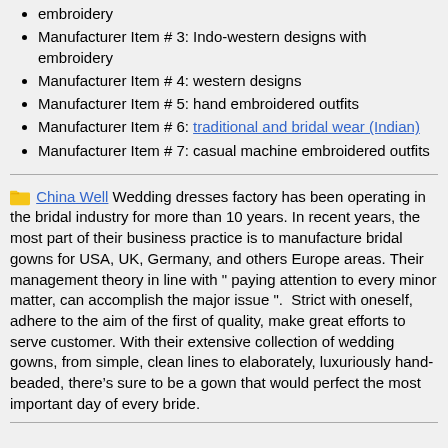embroidery
Manufacturer Item # 3: Indo-western designs with embroidery
Manufacturer Item # 4: western designs
Manufacturer Item # 5: hand embroidered outfits
Manufacturer Item # 6: traditional and bridal wear (Indian)
Manufacturer Item # 7: casual machine embroidered outfits
China Well Wedding dresses factory has been operating in the bridal industry for more than 10 years. In recent years, the most part of their business practice is to manufacture bridal gowns for USA, UK, Germany, and others Europe areas. Their management theory in line with " paying attention to every minor matter, can accomplish the major issue ".  Strict with oneself, adhere to the aim of the first of quality, make great efforts to serve customer. With their extensive collection of wedding gowns, from simple, clean lines to elaborately, luxuriously hand-beaded, there’s sure to be a gown that would perfect the most important day of every bride.